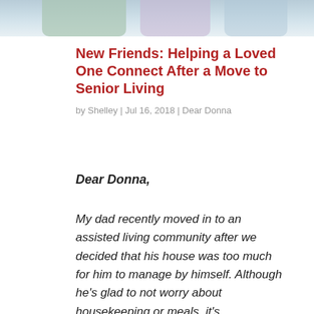[Figure (photo): Partial photo of people at the top of the page, cropped showing torsos and clothing in light colors.]
New Friends: Helping a Loved One Connect After a Move to Senior Living
by Shelley | Jul 16, 2018 | Dear Donna
Dear Donna,
My dad recently moved in to an assisted living community after we decided that his house was too much for him to manage by himself. Although he's glad to not worry about housekeeping or meals, it's